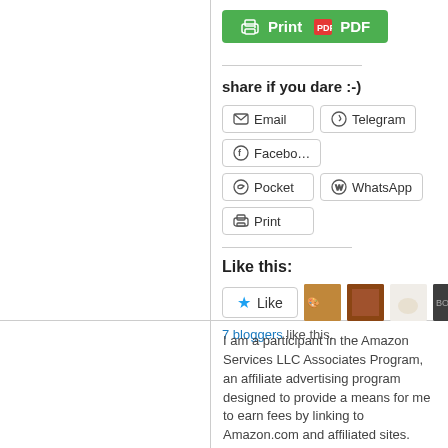[Figure (screenshot): Green Print/PDF button]
share if you dare :-)
[Figure (screenshot): Share buttons: Email, Telegram, Facebook, Pocket, WhatsApp, Print]
Like this:
[Figure (screenshot): Like button with star icon and 5 blogger avatars]
7 bloggers like this.
I am a participant in the Amazon Services LLC Associates Program, an affiliate advertising program designed to provide a means for me to earn fees by linking to Amazon.com and affiliated sites.
Categ
activist
Al Gore
AR5 le
Best of
big oil
Bill Mc
books